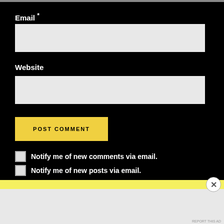Email *
Website
POST COMMENT
Notify me of new comments via email.
Notify me of new posts via email.
Advertisements
[Figure (other): Longreads advertisement banner: red background with Longreads logo and tagline 'The best stories on the web — ours, and everyone else's.']